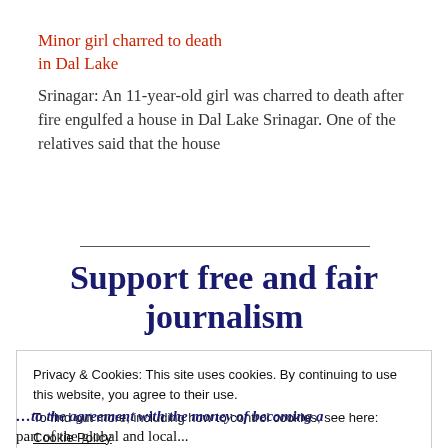Minor girl charred to death in Dal Lake
Srinagar: An 11-year-old girl was charred to death after fire engulfed a house in Dal Lake Srinagar. One of the relatives said that the house
Support free and fair journalism
Privacy & Cookies: This site uses cookies. By continuing to use this website, you agree to their use.
To find out more, including how to control cookies, see here: Cookie Policy
Close and accept
...to the agreement with the money of becoming a part of the global and local...